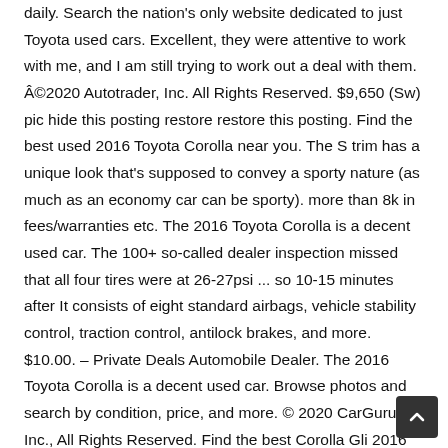daily. Search the nation's only website dedicated to just Toyota used cars. Excellent, they were attentive to work with me, and I am still trying to work out a deal with them. ©2020 Autotrader, Inc. All Rights Reserved. $9,650 (Sw) pic hide this posting restore restore this posting. Find the best used 2016 Toyota Corolla near you. The S trim has a unique look that's supposed to convey a sporty nature (as much as an economy car can be sporty). more than 8k in fees/warranties etc. The 2016 Toyota Corolla is a decent used car. The 100+ so-called dealer inspection missed that all four tires were at 26-27psi ... so 10-15 minutes after It consists of eight standard airbags, vehicle stability control, traction control, antilock brakes, and more. $10.00. – Private Deals Automobile Dealer. The 2016 Toyota Corolla is a decent used car. Browse photos and search by condition, price, and more. © 2020 CarGurus, Inc., All Rights Reserved. Find the best Corolla Gli 2016 price! $0. We'll help you find great deals among the millions of vehicles available nationwide on CarGurus, and we'll provide you with dealer reviews and vehicl